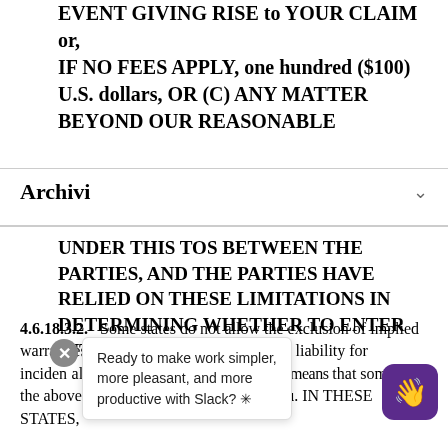EVENT GIVING RISE to YOUR CLAIM or, IF NO FEES APPLY, one hundred ($100) U.S. dollars, OR (C) ANY MATTER BEYOND OUR REASONABLE
Archivi
UNDER THIS TOS BETWEEN THE PARTIES, AND THE PARTIES HAVE RELIED ON THESE LIMITATIONS IN DETERMINING WHETHER TO ENTER INTO THIS TOS.
4.6.18.3.2.  Some states do not allow the exclusion of implied warranties or limitation of liability for incidental or consequential damages, which means that some of the above limitations may not apply to you. IN THESE STATES,
Ready to make work simpler, more pleasant, and more productive with Slack? ✳️